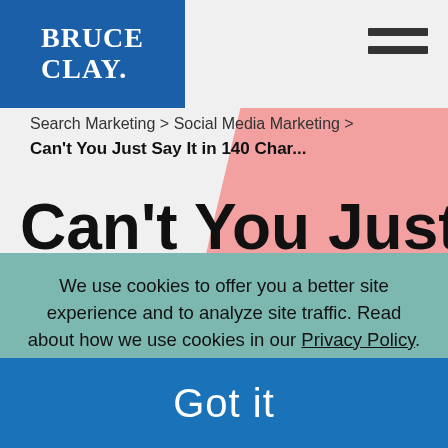[Figure (logo): Bruce Clay logo — white text on blue background in top-left corner]
Search Marketing > Social Media Marketing >
Can't You Just Say It in 140 Char...
Can't You Just Say It
We use cookies to offer you a better site experience and to analyze site traffic. Read about how we use cookies in our Privacy Policy. If you continue to use this site, you consent to our use of cookies.
Got it